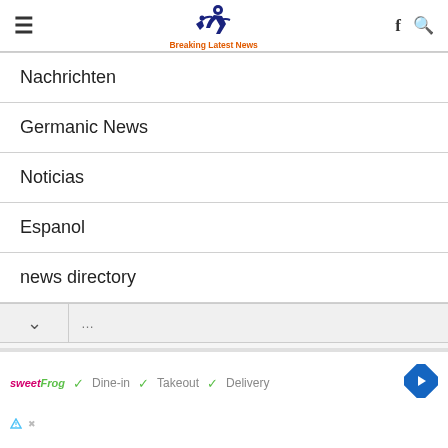Breaking Latest News
Nachrichten
Germanic News
Noticias
Espanol
news directory
[Figure (screenshot): Ad banner for sweetFrog with Dine-in, Takeout, Delivery checkmarks and navigation arrow icon]